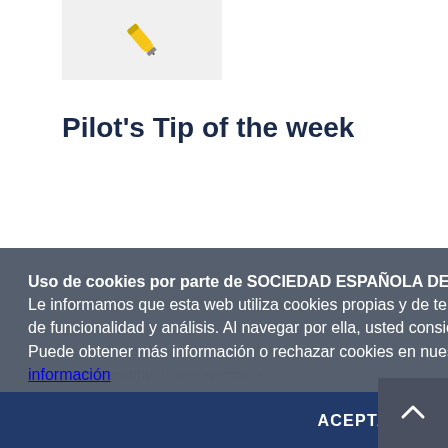[Figure (illustration): Yellow pen/pencil icon on light gray background]
Pilot's Tip of the week
PilotWorkshops.com delivers multimedia workshops ... It addresses aviation's safety challenges. Its workshops ... pilots and aviation instructors who share tips ... become a better pilot and a better ... improve some of your ratings or ...
Uso de cookies por parte de SOCIEDAD ESPAÑOLA DE MEDICINA AEROESPACIAL. Le informamos que esta web utiliza cookies propias y de terceros con fines de rendimiento, de funcionalidad y análisis. Al navegar por ella, usted consiente el uso de las mismas. Puede obtener más información o rechazar cookies en nuestra Política de Cookies. Más información
ACEPTAR
Siguiente >